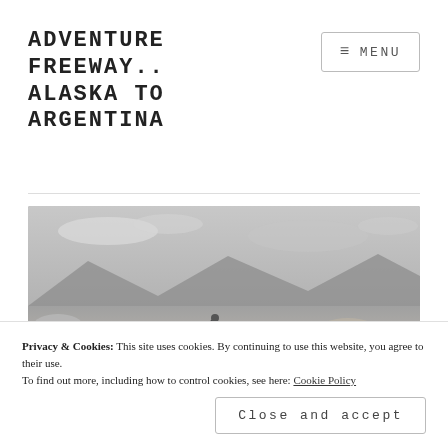ADVENTURE FREEWAY.. ALASKA TO ARGENTINA
[Figure (screenshot): Menu button with hamburger icon and text MENU, bordered rectangle]
[Figure (photo): Black and white photograph of a motorcycle rider on a rocky, barren landscape with mountains in the background]
Privacy & Cookies: This site uses cookies. By continuing to use this website, you agree to their use.
To find out more, including how to control cookies, see here: Cookie Policy
Close and accept
WHEELS.. WITH TOM, LORNA